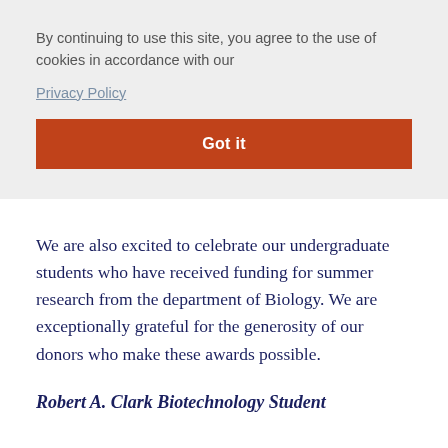By continuing to use this site, you agree to the use of cookies in accordance with our
Privacy Policy
Got it
We are also excited to celebrate our undergraduate students who have received funding for summer research from the department of Biology. We are exceptionally grateful for the generosity of our donors who make these awards possible.
Robert A. Clark Biotechnology Student Research Award